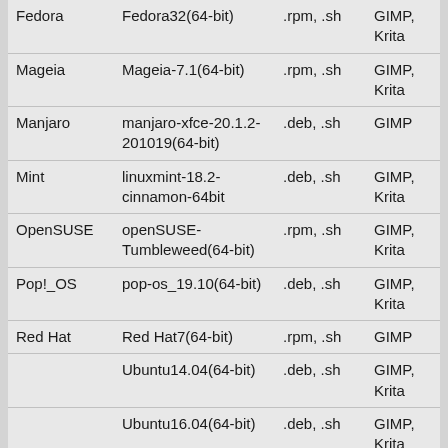| Fedora | Fedora32(64-bit) | .rpm, .sh | GIMP, Krita |
| Mageia | Mageia-7.1(64-bit) | .rpm, .sh | GIMP, Krita |
| Manjaro | manjaro-xfce-20.1.2-201019(64-bit) | .deb, .sh | GIMP |
| Mint | linuxmint-18.2-cinnamon-64bit | .deb, .sh | GIMP, Krita |
| OpenSUSE | openSUSE-Tumbleweed(64-bit) | .rpm, .sh | GIMP, Krita |
| Pop!_OS | pop-os_19.10(64-bit) | .deb, .sh | GIMP, Krita |
| Red Hat | Red Hat7(64-bit) | .rpm, .sh | GIMP |
|  | Ubuntu14.04(64-bit) | .deb, .sh | GIMP, Krita |
|  | Ubuntu16.04(64-bit) | .deb, .sh | GIMP, Krita |
| Ubuntu | Ubuntu17.04(64-bit) | .deb, .sh | GIMP, Krita |
|  | Ubuntu18.04(64-bit) | .deb, .sh | GIMP, Krita |
|  | Ubuntu19.04(64-bit) | .deb, .sh | GIMP, |